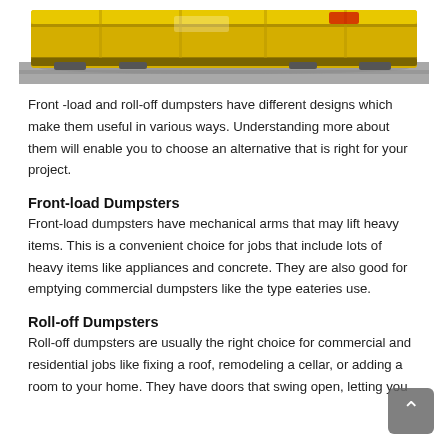[Figure (photo): Yellow front-load dumpster photographed from the side on a gravel surface]
Front -load and roll-off dumpsters have different designs which make them useful in various ways. Understanding more about them will enable you to choose an alternative that is right for your project.
Front-load Dumpsters
Front-load dumpsters have mechanical arms that may lift heavy items. This is a convenient choice for jobs that include lots of heavy items like appliances and concrete. They are also good for emptying commercial dumpsters like the type eateries use.
Roll-off Dumpsters
Roll-off dumpsters are usually the right choice for commercial and residential jobs like fixing a roof, remodeling a cellar, or adding a room to your home. They have doors that swing open, letting you walk into the dumpster. They also have open tops that allow